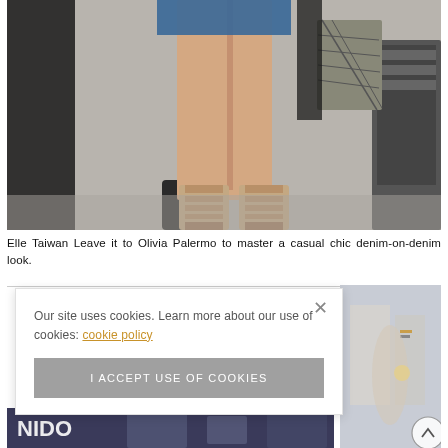[Figure (photo): Street style photo showing legs of a woman wearing lace-up heeled sandals and denim skirt, carrying a plaid clutch bag]
Elle Taiwan Leave it to Olivia Palermo to master a casual chic denim-on-denim look.
Our site uses cookies. Learn more about our use of cookies: cookie policy
I ACCEPT USE OF COOKIES
[Figure (photo): Street style photo partially visible on right side, blurred urban background]